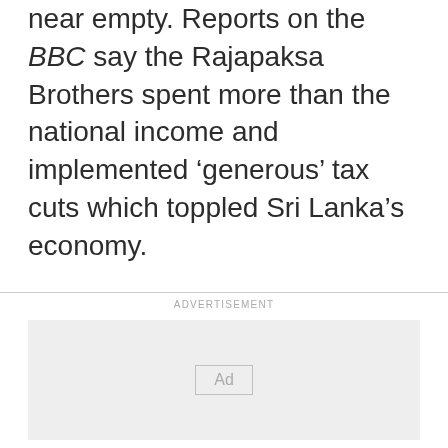near empty. Reports on the BBC say the Rajapaksa Brothers spent more than the national income and implemented 'generous' tax cuts which toppled Sri Lanka's economy.
ADVERTISEMENT
[Figure (other): Advertisement placeholder box with 'Ad' label]